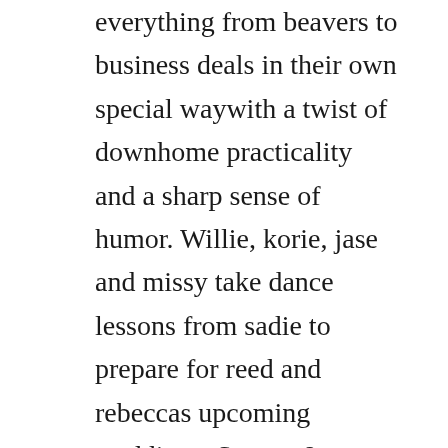everything from beavers to business deals in their own special waywith a twist of downhome practicality and a sharp sense of humor. Willie, korie, jase and missy take dance lessons from sadie to prepare for reed and rebeccas upcoming weddings. Season 8, episode 2 tvpg cc hd cc sd when jase receives a palate of fireworks as a gift, he and the guys create a homemade fireworks display for the robertson family 4th of july barbeque. On duck dynasty season 8 episode 3, an argument over the best duck decoy leads to a bet between phil and jase. We have 34